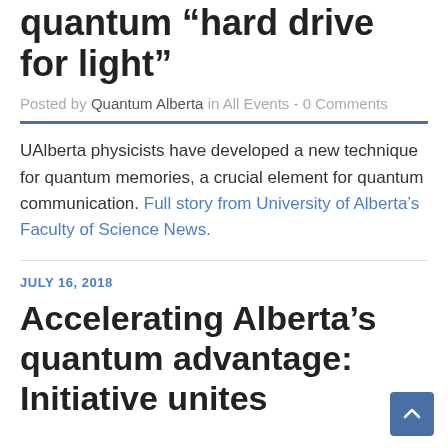quantum “hard drive for light”
Posted by Quantum Alberta in All Events - 0 Comments
UAlberta physicists have developed a new technique for quantum memories, a crucial element for quantum communication. Full story from University of Alberta’s Faculty of Science News.
JULY 16, 2018
Accelerating Alberta’s quantum advantage: Initiative unites